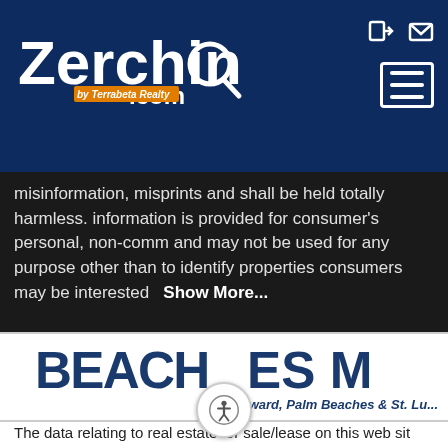[Figure (logo): Zerching.com by Terrabeta Realty logo — white stylized text on dark navy background with magnifying glass icon and orange 'by Terrabeta Realty' badge]
misinformation, misprints and shall be held totally harmless. information is provided for consumer's personal, non-comm and may not be used for any purpose other than to identify properties consumers may be interested   Show More...
[Figure (logo): BeachesMLS logo — large dark blue bold text 'BEACHES M' with crescent arc in C, subtitle: Broward, Palm Beaches & St. Lu...]
The data relating to real estate for sale/lease on this web sit part from a cooperative data exchange program of the mu service (MLS) in which this real estate firm (Broker) participa is provided exclusively for the user's personal non-commer